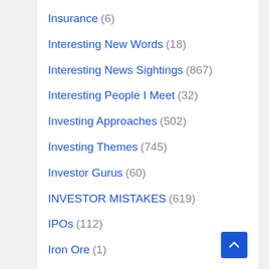Insurance (6)
Interesting New Words (18)
Interesting News Sightings (867)
Interesting People I Meet (32)
Investing Approaches (502)
Investing Themes (745)
Investor Gurus (60)
INVESTOR MISTAKES (619)
IPOs (112)
Iron Ore (1)
Jute (1)
Kingfisher Airlines ~ Machiavellian Mallyas (15)